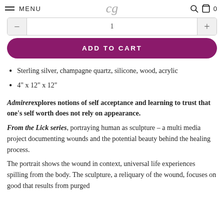MENU | cg | [search icon] [cart icon] 0
[Figure (screenshot): Quantity selector with minus and plus buttons and a center input field]
ADD TO CART
Sterling silver, champagne quartz, silicone, wood, acrylic
4" x 12" x 12"
Admirer explores notions of self acceptance and learning to trust that one's self worth does not rely on appearance.
From the Lick series, portraying human as sculpture – a multi media project documenting wounds and the potential beauty behind the healing process.
The portrait shows the wound in context, universal life experiences spilling from the body. The sculpture, a reliquary of the wound, focuses on good that results from purged